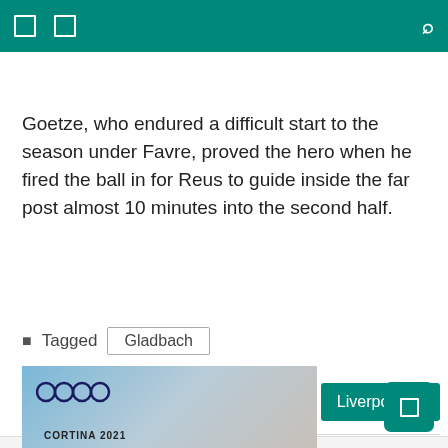Goetze, who endured a difficult start to the season under Favre, proved the hero when he fired the ball in for Reus to guide inside the far post almost 10 minutes into the second half.
Tagged  Gladbach
Post ball...
Liverpool t...
RELATED POSTS
[Figure (photo): Sports photo showing Audi rings logo and CORTINA 2021 text, blurred background]